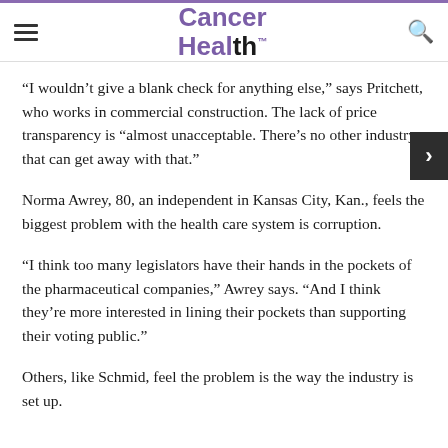Cancer Health
“I wouldn’t give a blank check for anything else,” says Pritchett, who works in commercial construction. The lack of price transparency is “almost unacceptable. There’s no other industry that can get away with that.”
Norma Awrey, 80, an independent in Kansas City, Kan., feels the biggest problem with the health care system is corruption.
“I think too many legislators have their hands in the pockets of the pharmaceutical companies,” Awrey says. “And I think they’re more interested in lining their pockets than supporting their voting public.”
Others, like Schmid, feel the problem is the way the industry is set up.